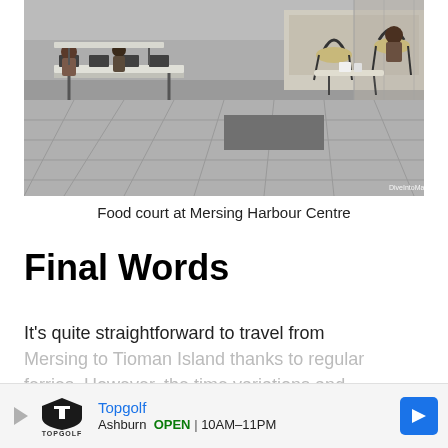[Figure (photo): Food court interior at Mersing Harbour Centre showing long tables with attached chairs on a tiled floor, with food stalls in the background. Watermark reads 'DiveIntoMalaysia.com'.]
Food court at Mersing Harbour Centre
Final Words
It's quite straightforward to travel from Mersing to Tioman Island thanks to regular ferries. However, the time variations and
Cookies help us deliver our services. By using our services, you agree to our use of
[Figure (screenshot): Advertisement banner for Topgolf Ashburn showing logo, brand name in blue, and hours OPEN 10AM-11PM with navigation arrow icon.]